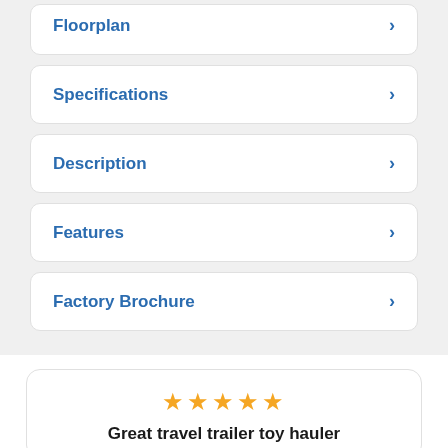Floorplan
Specifications
Description
Features
Factory Brochure
★★★★★
Great travel trailer toy hauler